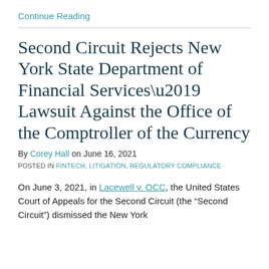Continue Reading
Second Circuit Rejects New York State Department of Financial Services’ Lawsuit Against the Office of the Comptroller of the Currency
By Corey Hall on June 16, 2021
POSTED IN FINTECH, LITIGATION, REGULATORY COMPLIANCE
On June 3, 2021, in Lacewell v. OCC, the United States Court of Appeals for the Second Circuit (the “Second Circuit”) dismissed the New York